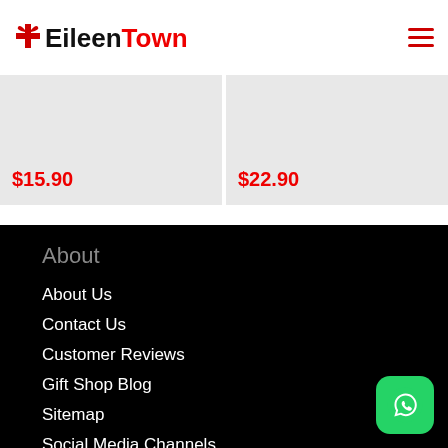EileenTown
$15.90
$22.90
About
About Us
Contact Us
Customer Reviews
Gift Shop Blog
Sitemap
Social Media Channels
Sustainability
Policies